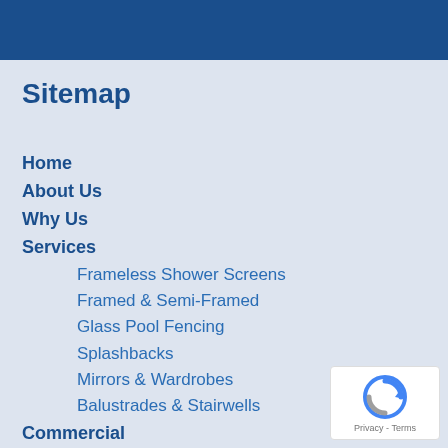Sitemap
Home
About Us
Why Us
Services
Frameless Shower Screens
Framed & Semi-Framed
Glass Pool Fencing
Splashbacks
Mirrors & Wardrobes
Balustrades & Stairwells
Commercial
For Builders
Our Gallery
Blog